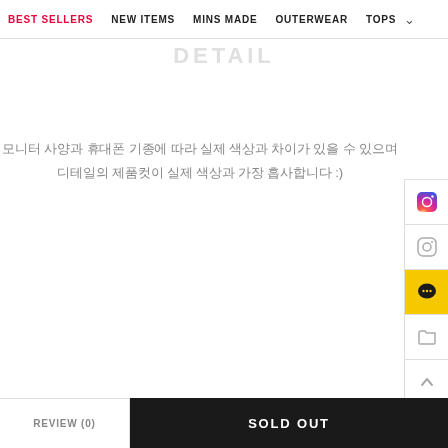BEST SELLERS  NEW ITEMS  MINS MADE  OUTERWEAR  TOPS
DETAIL
모니터 사양과 휴대폰 기종에 따라 실제 색상과 차이가 있을 수 있으며 디테일의 제품컷이 실제 색상과 가장 흡사합니다 :)
[Figure (other): Floating sidebar with social/action icons: Instagram (color), Instagram (outline), KakaoTalk chat (yellow background), folder, up arrow, down arrow]
REVIEW (0)   SOLD OUT